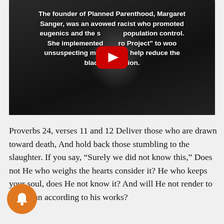[Figure (screenshot): A YouTube video thumbnail showing a black-and-white photo of Margaret Sanger with overlaid white bold text reading: 'The founder of Planned Parenthood, Margaret Sanger, was an avowed racist who promoted eugenics and the s[terilization/upport of] population control. She implemented [the Neg]ro Project to woo unsuspecting ministers to help reduce the black population.' A YouTube play button (red rounded rectangle with white triangle) is overlaid in the center.]
Proverbs 24, verses 11 and 12 Deliver those who are drawn toward death, And hold back those stumbling to the slaughter. If you say, “Surely we did not know this,” Does not He who weighs the hearts consider it? He who keeps your soul, does He not know it? And will He not render to each man according to his works?